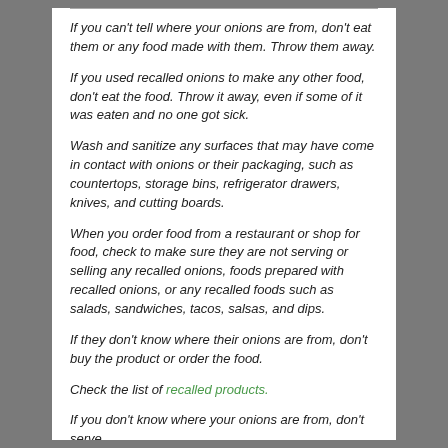If you can't tell where your onions are from, don't eat them or any food made with them. Throw them away.
If you used recalled onions to make any other food, don't eat the food. Throw it away, even if some of it was eaten and no one got sick.
Wash and sanitize any surfaces that may have come in contact with onions or their packaging, such as countertops, storage bins, refrigerator drawers, knives, and cutting boards.
When you order food from a restaurant or shop for food, check to make sure they are not serving or selling any recalled onions, foods prepared with recalled onions, or any recalled foods such as salads, sandwiches, tacos, salsas, and dips.
If they don't know where their onions are from, don't buy the product or order the food.
Check the list of recalled products.
If you don't know where your onions are from, don't serve